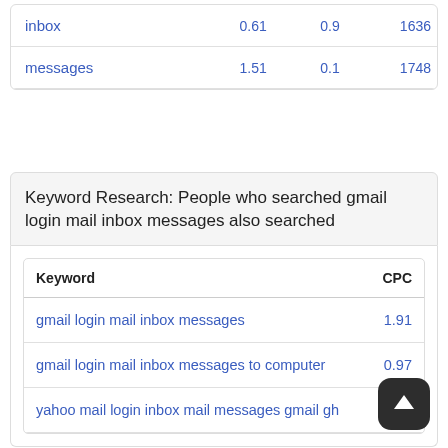| Keyword |  |  |  |
| --- | --- | --- | --- |
| inbox | 0.61 | 0.9 | 1636 |
| messages | 1.51 | 0.1 | 1748 |
Keyword Research: People who searched gmail login mail inbox messages also searched
| Keyword | CPC |
| --- | --- |
| gmail login mail inbox messages | 1.91 |
| gmail login mail inbox messages to computer | 0.97 |
| yahoo mail login inbox mail messages gmail gh | 0. |